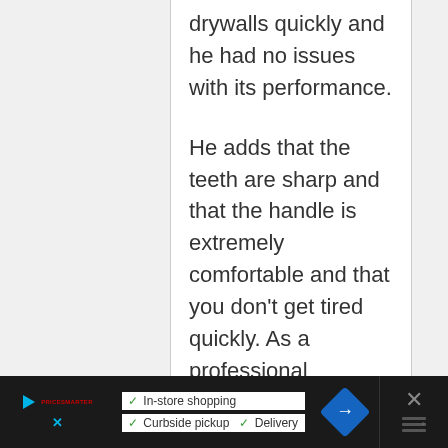drywalls quickly and he had no issues with its performance.

He adds that the teeth are sharp and that the handle is extremely comfortable and that you don't get tired quickly. As a professional contractor, he highly recommends it to anyone looking for the best jab saw. Another satisfied user states that after two years of use.
[Figure (screenshot): Mobile advertisement bar at the bottom showing a play button icon, store info (In-store shopping, Curbside pickup, Delivery), a blue navigation diamond icon, and a close button.]